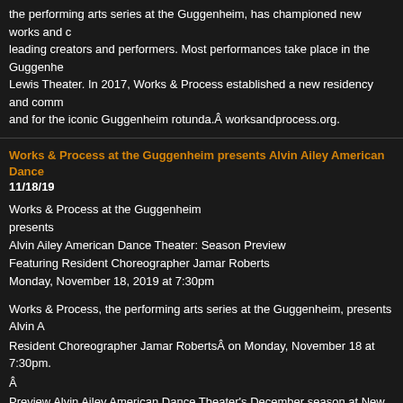the performing arts series at the Guggenheim, has championed new works and leading creators and performers. Most performances take place in the Guggenheim Lewis Theater. In 2017, Works & Process established a new residency and commission and for the iconic Guggenheim rotunda.Â worksandprocess.org.
Works & Process at the Guggenheim presents Alvin Ailey American Dance 11/18/19
Works & Process at the Guggenheim presents Alvin Ailey American Dance Theater: Season Preview Featuring Resident Choreographer Jamar Roberts Monday, November 18, 2019 at 7:30pm
Works & Process, the performing arts series at the Guggenheim, presents Alvin A Resident Choreographer Jamar RobertsÂ on Monday, November 18 at 7:30pm. Â Preview Alvin Ailey American Dance Theater's December season at New York Ci Roberts, Ailey's first resident choreographer. This new work reflects on the beau pianist Don Pullen's tribute to Malcolm X, Suite (Sweet) Malcolm. Ailey's acclame willÂ participate in a discussion with Roberts,Â Donald Byrd and Stefanie Batten Â TICKETS & VENUE $45, $40 Guggenheim Members and Friends of Works & Process House seats may be available for $1,000+ Friends of Works & Process. On a lim performances at ticket prices of $90, $80 members. Box Office (212) 423-3575 orÂ worksandprocess.org